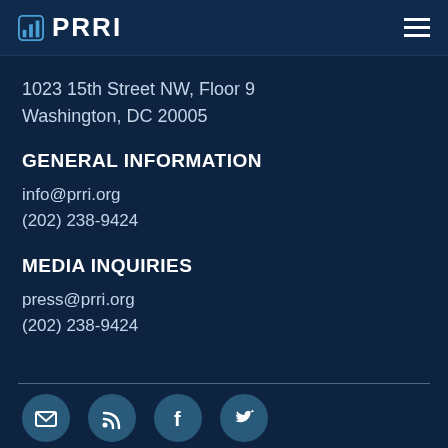PRRI
1023 15th Street NW, Floor 9
Washington, DC 20005
GENERAL INFORMATION
info@prri.org
(202) 238-9424
MEDIA INQUIRIES
press@prri.org
(202) 238-9424
[Figure (other): Social media icons: email, RSS feed, Facebook, Twitter]